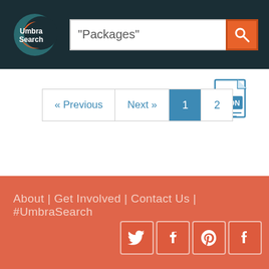Umbra Search — "Packages" search page
[Figure (logo): Umbra Search circular logo with orange and teal crescent design on dark background]
"Packages"
[Figure (infographic): JSON file download icon — blue outlined document with JSON label]
« Previous  Next »  1  2
About | Get Involved | Contact Us | #UmbraSearch